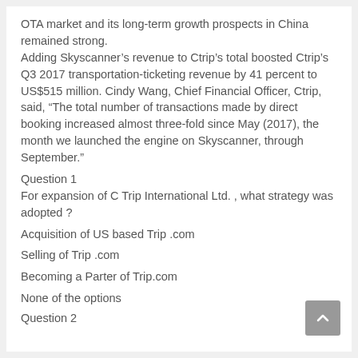OTA market and its long-term growth prospects in China remained strong. Adding Skyscanner's revenue to Ctrip's total boosted Ctrip's Q3 2017 transportation-ticketing revenue by 41 percent to US$515 million. Cindy Wang, Chief Financial Officer, Ctrip, said, “The total number of transactions made by direct booking increased almost three-fold since May (2017), the month we launched the engine on Skyscanner, through September.”
Question 1
For expansion of C Trip International Ltd. , what strategy was adopted ?
Acquisition of US based Trip .com
Selling of Trip .com
Becoming a Parter of Trip.com
None of the options
Question 2